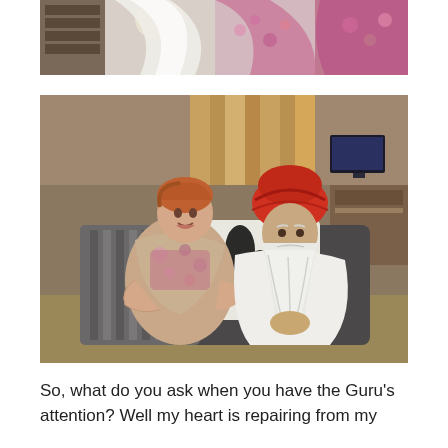[Figure (photo): Partial photo at top showing people in colorful traditional clothing, cropped — only lower portions visible]
[Figure (photo): Photo of a young red-haired woman and an elderly Sikh man with a long white beard and red turban, both sitting on a couch with a black-and-white leaf-patterned cushion, in an indoor room setting]
So, what do you ask when you have the Guru's attention? Well my heart is repairing from my